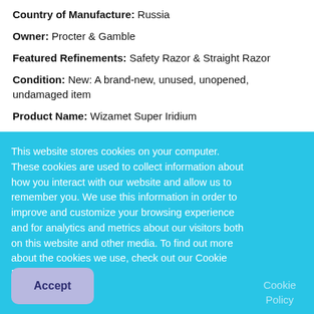Country of Manufacture: Russia
Owner: Procter & Gamble
Featured Refinements: Safety Razor & Straight Razor
Condition: New: A brand-new, unused, unopened, undamaged item
Product Name: Wizamet Super Iridium
Number of Cartridges: 25
GTIN: 3014260318024
This website stores cookies on your computer. These cookies are used to collect information about how you interact with our website and allow us to remember you. We use this information in order to improve and customize your browsing experience and for analytics and metrics about our visitors both on this website and other media. To find out more about the cookies we use, check out our Cookie Policy.
Cookie Policy
Accept